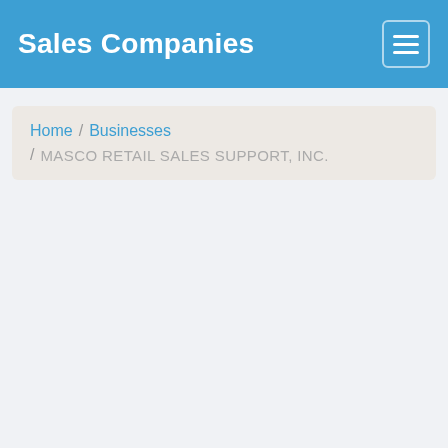Sales Companies
Home / Businesses / MASCO RETAIL SALES SUPPORT, INC.